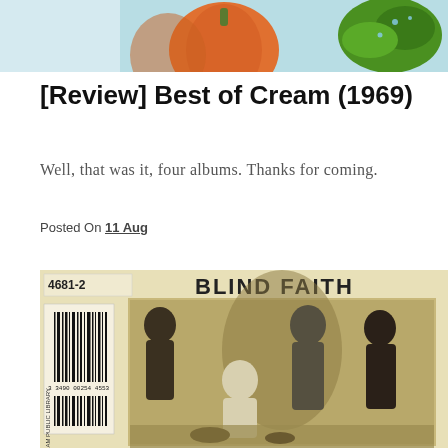[Figure (photo): Top banner image showing colorful objects including an orange pumpkin and green plant on a light blue background, cropped at bottom]
[Review] Best of Cream (1969)
Well, that was it, four albums. Thanks for coming.
Posted On 11 Aug
[Figure (photo): Album cover image of Blind Faith showing a yellowed CD case with a library barcode sticker (Hingham Public Library, 3 3490 00254 4553) and a sepia-toned photograph of four band members posing together]